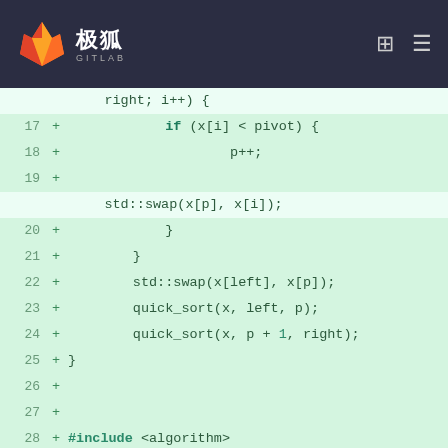极狐 GITLAB
[Figure (screenshot): GitLab code diff view showing C++ quicksort implementation, lines 17-34, all marked as additions with green background. Code includes if/else blocks, std::swap calls, quick_sort recursive calls, #include directives, using namespace std, and int main() function beginning.]